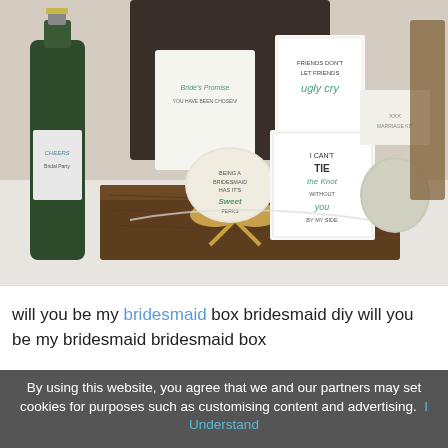[Figure (photo): A wooden box filled with bridesmaid proposal items including a champagne bottle labeled 'Bridal Party', cards reading 'Bride's Promise', 'Being a Bridesmaid has its Sweet Perks', 'Friends don't let friends ugly cry', 'I Can't Tie the Knot Without You by My Side', and other small gift items, tied with a gold bow.]
will you be my bridesmaid box bridesmaid diy will you be my bridesmaid bridesmaid box
By using this website, you agree that we and our partners may set cookies for purposes such as customising content and advertising.  I Understand